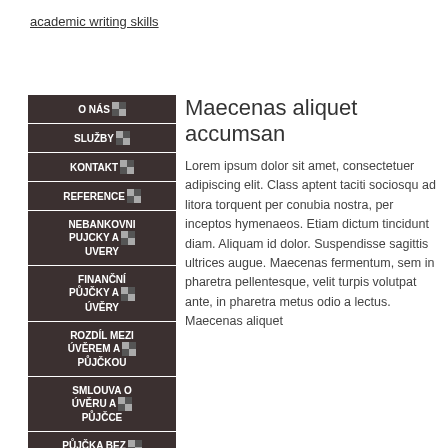academic writing skills
O NÁS
SLUŽBY
KONTAKT
REFERENCE
NEBANKOVNI PUJCKY A UVERY
FINANČNÍ PŮJČKY A ÚVĚRY
ROZDÍL MEZI ÚVĚREM A PŮJČKOU
SMLOUVA O ÚVĚRU A PŮJČCE
PŮJČKA BEZ BANKY
Maecenas aliquet accumsan
Lorem ipsum dolor sit amet, consectetuer adipiscing elit. Class aptent taciti sociosqu ad litora torquent per conubia nostra, per inceptos hymenaeos. Etiam dictum tincidunt diam. Aliquam id dolor. Suspendisse sagittis ultrices augue. Maecenas fermentum, sem in pharetra pellentesque, velit turpis volutpat ante, in pharetra metus odio a lectus. Maecenas aliquet